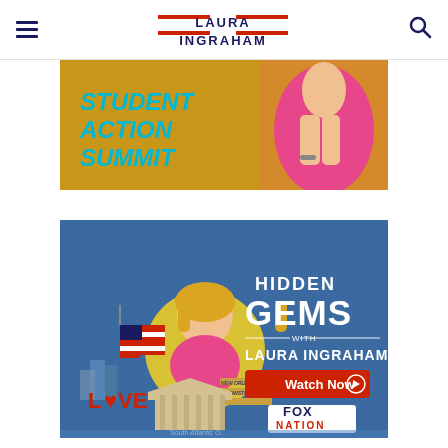Laura Ingraham — site header with navigation menu icon, logo, and search icon
[Figure (photo): Student Action Summit promotional banner showing a woman in a pink dress against a gold/yellow background with teal text reading STUDENT ACTION SUMMIT]
[Figure (photo): Hidden Gems with Laura Ingraham Fox Nation promotional banner showing Laura Ingraham with American flag and landmarks, text reading HIDDEN GEMS WITH LAURA INGRAHAM, Watch Now button, and Fox Nation logo on blue background]